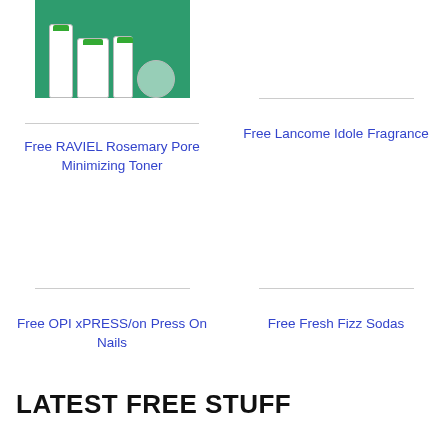[Figure (photo): RAVIEL Rosemary Pore Minimizing Toner product bottles on green background]
[Figure (photo): Free Lancome Idole Fragrance product image placeholder]
Free RAVIEL Rosemary Pore Minimizing Toner
Free Lancome Idole Fragrance
[Figure (photo): Free OPI xPRESS/on Press On Nails product image placeholder]
[Figure (photo): Free Fresh Fizz Sodas product image placeholder]
Free OPI xPRESS/on Press On Nails
Free Fresh Fizz Sodas
LATEST FREE STUFF